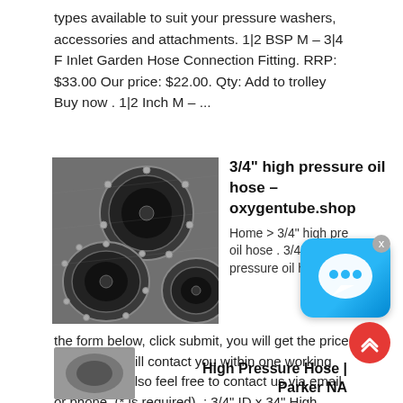types available to suit your pressure washers, accessories and attachments. 1|2 BSP M - 3|4 F Inlet Garden Hose Connection Fitting. RRP: $33.00 Our price: $22.00. Qty: Add to trolley Buy now . 1|2 Inch M - ...
[Figure (photo): Multiple large industrial rubber hoses with metal flange ends, viewed from the front.]
3/4" high pressure oil hose - oxygentube.shop
Home > 3/4" high pressure oil hose . 3/4" high pressure oil hose. Just fill in the form below, click submit, you will get the price list, and we will contact you within one working day. Please also feel free to contact us via email or phone. (* is required). : 3/4" ID x 34" High Pressure Hydraulic Hose Hose assely measures 34 inches long with an inner diameter ...
High Pressure Hose | Parker NA
[Figure (photo): Partial view of a pressure hose product image at the bottom of the page.]